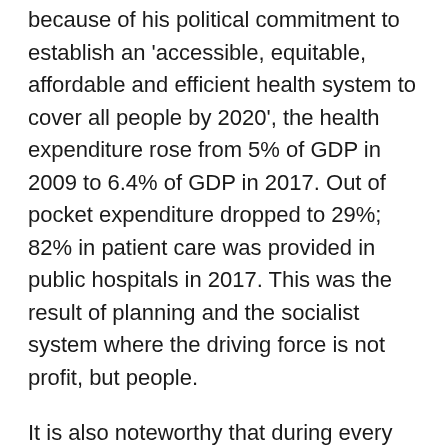because of his political commitment to establish an 'accessible, equitable, affordable and efficient health system to cover all people by 2020', the health expenditure rose from 5% of GDP in 2009 to 6.4% of GDP in 2017. Out of pocket expenditure dropped to 29%; 82% in patient care was provided in public hospitals in 2017. This was the result of planning and the socialist system where the driving force is not profit, but people.
It is also noteworthy that during every crisis and emergency, it is only the much vilified public sector that rises to the occasion and comes to the rescue of the nation and the people. This was seen in the 2008 global financial crisis. It was the public sector banks and financial institutions that came to the rescue; and it is the public sector companies and institutions that kept the national economy floating through continuous